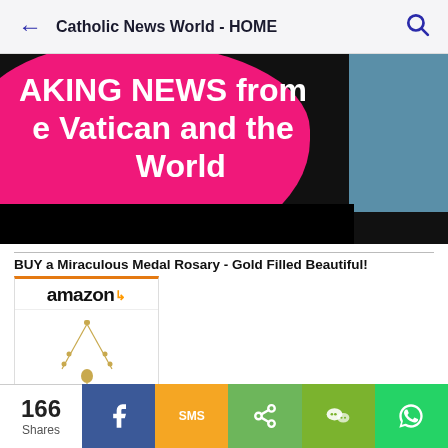Catholic News World - HOME
[Figure (photo): Breaking News banner with pink circular blob overlay on dark background, text reads 'AKING NEWS from e Vatican and the World']
BUY a Miraculous Medal Rosary - Gold Filled Beautiful!
[Figure (photo): Amazon product card showing a gold-filled miraculous medal rosary necklace with Amazon logo at top]
Miabella 925
166 Shares | Facebook | SMS | Share | WeChat | WhatsApp